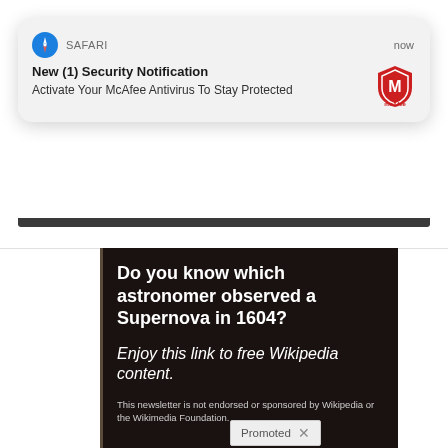[Figure (screenshot): Safari browser notification card showing 'New (1) Security Notification - Activate Your McAfee Antivirus To Stay Protected' with McAfee logo, overlaid on a webpage with a dark ad banner asking 'Do you know which astronomer observed a Supernova in 1604?' with italic text 'Enjoy this link to free Wikipedia content.' and disclaimer text.]